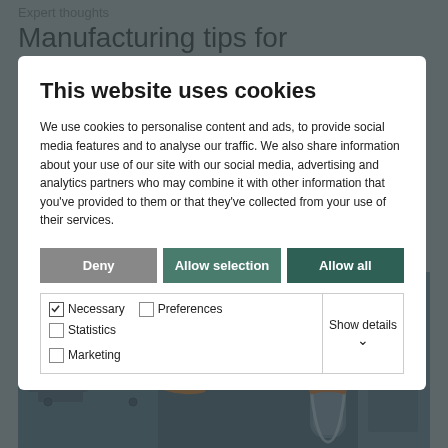Expert thoughts
Manufacturing tips for thermal
[Figure (photo): Industrial machinery with orange cables and cylindrical components, likely thermal manufacturing equipment]
This website uses cookies
We use cookies to personalise content and ads, to provide social media features and to analyse our traffic. We also share information about your use of our site with our social media, advertising and analytics partners who may combine it with other information that you've provided to them or that they've collected from your use of their services.
Deny | Allow selection | Allow all
Necessary  Preferences  Statistics  Marketing  Show details